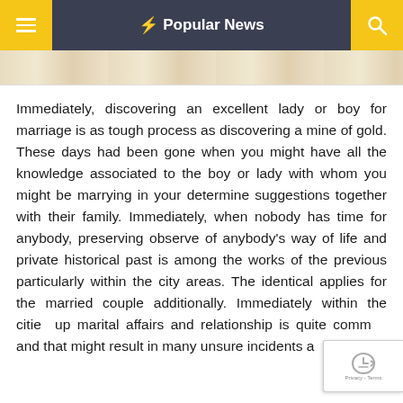≡  ⚡ Popular News  🔍
[Figure (photo): Partial view of a wooden surface or furniture piece, light beige/cream colored, cropped at top of article]
Immediately, discovering an excellent lady or boy for marriage is as tough process as discovering a mine of gold. These days had been gone when you might have all the knowledge associated to the boy or lady with whom you might be marrying in your determine suggestions together with their family. Immediately, when nobody has time for anybody, preserving observe of anybody's way of life and private historical past is among the works of the previous particularly within the city areas. The identical applies for the married couple additionally. Immediately within the cities up marital affairs and relationship is quite common and that might result in many unsure incidents and